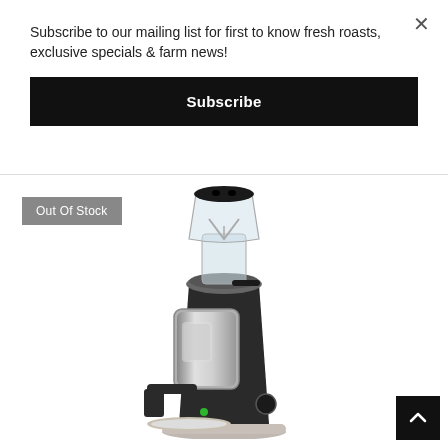Subscribe to our mailing list for first to know fresh roasts, exclusive specials & farm news!
Subscribe
×
Out Of Stock
[Figure (photo): A commercial espresso coffee grinder with a clear hopper on top, chrome/polished metal dosing chamber, black body, portafilter fork, and a stainless steel grounds tray at the bottom. The grinder is shown on a white background.]